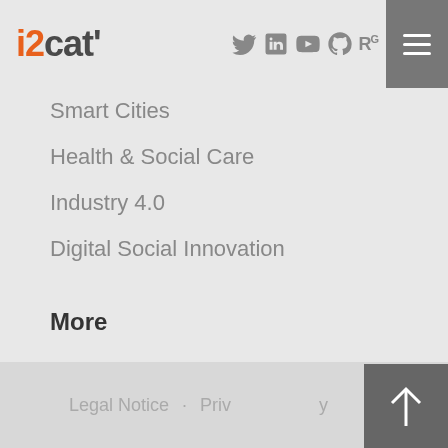i2cat' [logo with social icons and menu]
Smart Cities
Health & Social Care
Industry 4.0
Digital Social Innovation
More
Projects
Media Corner
Events
Legal Notice · Privacy Policy